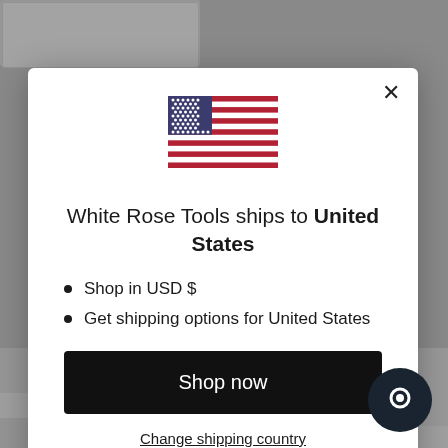[Figure (screenshot): Modal dialog on an e-commerce website showing a US flag icon, shipping information text, bullet points, a Shop now button, and a Change shipping country link. Background shows product thumbnails.]
White Rose Tools ships to United States
Shop in USD $
Get shipping options for United States
Shop now
Change shipping country